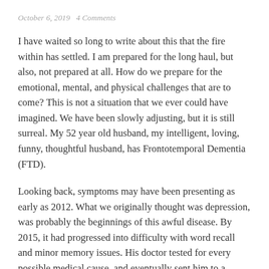October 6, 2019   4 Comments
I have waited so long to write about this that the fire within has settled. I am prepared for the long haul, but also, not prepared at all. How do we prepare for the emotional, mental, and physical challenges that are to come? This is not a situation that we ever could have imagined. We have been slowly adjusting, but it is still surreal. My 52 year old husband, my intelligent, loving, funny, thoughtful husband, has Frontotemporal Dementia (FTD).
Looking back, symptoms may have been presenting as early as 2012. What we originally thought was depression, was probably the beginnings of this awful disease. By 2015, it had progressed into difficulty with word recall and minor memory issues. His doctor tested for every possible medical cause, and eventually sent him to a neurophysiologist. Three years ago this fall, that specialist told us that my 49 year old husband may have early onset